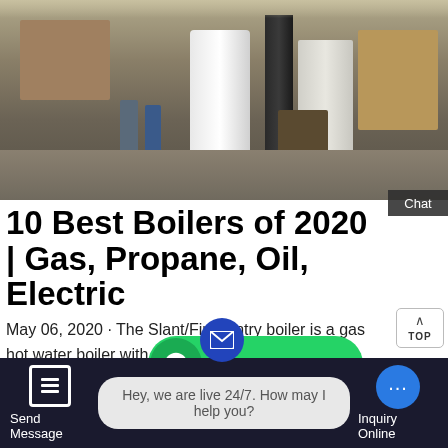[Figure (photo): Factory/warehouse scene showing large white cylindrical boilers being inspected, with workers in blue clothing, pallets of materials, and a forklift in the background]
10 Best Boilers of 2020 | Gas, Propane, Oil, Electric
May 06, 2020 · The Slant/Fin Sentry boiler is a gas hot water boiler with an efficiency [of 84]% AFUE. The Sentry comes with several noteworthy [featur]es such a pre-purge option to conserve heat, a LED display which monitors [tempera]ture [and] [all]ows [t]...
Hey, we are live 24/7. How may I help you?